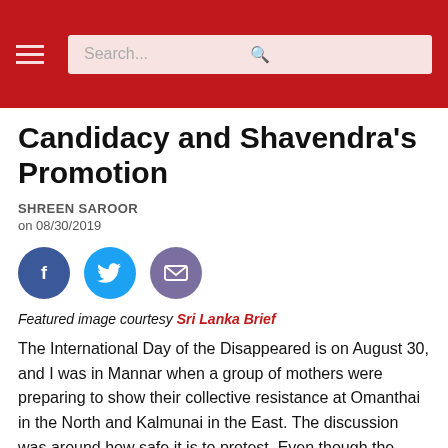Search...
Candidacy and Shavendra's Promotion
SHREEN SAROOR
on 08/30/2019
[Figure (illustration): Three social sharing icons: Facebook (blue circle with f), Twitter (cyan circle with bird), Email (purple circle with envelope)]
Featured image courtesy Sri Lanka Brief
The International Day of the Disappeared is on August 30, and I was in Mannar when a group of mothers were preparing to show their collective resistance at Omanthai in the North and Kalmunai in the East. The discussion was around how safe it is to protest. Even though the State of Emergency has been lifted, the President has signed an extraordinary gazette assigning the